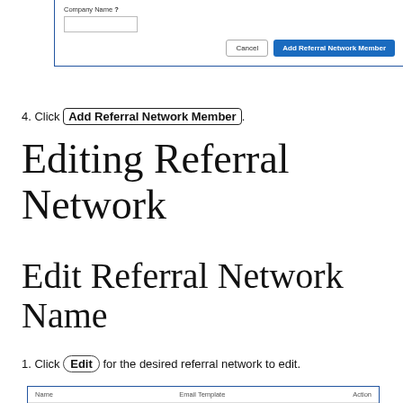[Figure (screenshot): UI dialog panel showing a Company Name field with input box, and Cancel and Add Referral Network Member buttons at bottom right.]
4. Click Add Referral Network Member.
Editing Referral Network
Edit Referral Network Name
1. Click Edit for the desired referral network to edit.
[Figure (screenshot): Partial table with columns: Name, Email Template, Action]